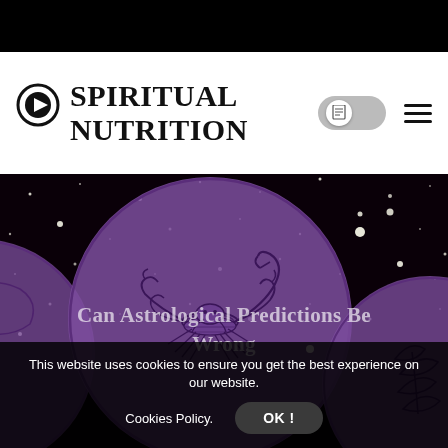SPIRITUAL NUTRITION
[Figure (illustration): Website header with Spiritual Nutrition logo featuring a play button circle icon, a toggle switch with document icon, and hamburger menu icon on white background]
[Figure (illustration): Dark starry night background with large purple circular zodiac medallions featuring a scorpion (Scorpio) and leaf/plant motifs, mystical astrology themed hero image]
Can Astrological Predictions Be Wrong
This website uses cookies to ensure you get the best experience on our website.
Cookies Policy.
OK !